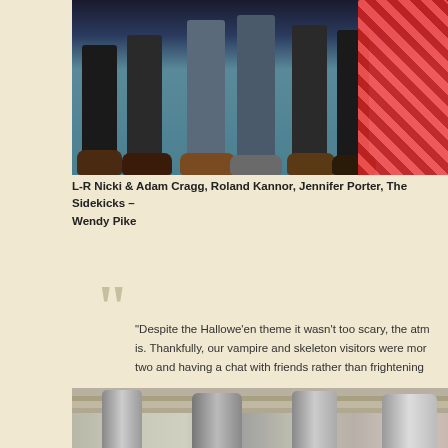[Figure (photo): Bottom halves and feet of a group of people standing on a blue/teal floor, with a woman in a red patterned dress on the right]
L-R Nicki & Adam Cragg, Roland Kannor, Jennifer Porter, The Sidekicks – Wendy Pike
“Despite the Hallowe’en theme it wasn’t too scary, the atm is. Thankfully, our vampire and skeleton visitors were mor two and having a chat with friends rather than frightening
Roland Kannor
[Figure (photo): Black and white photo of old milk churns in front of wooden planks]